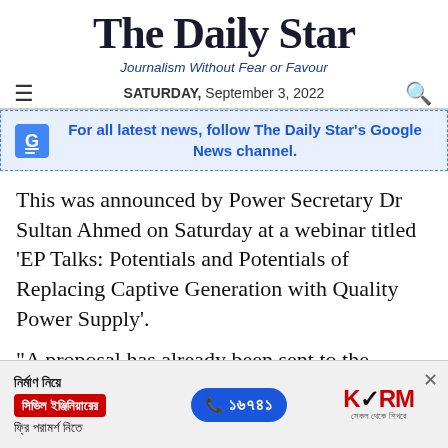The Daily Star — Journalism Without Fear or Favour — SATURDAY, September 3, 2022
For all latest news, follow The Daily Star's Google News channel.
This was announced by Power Secretary Dr Sultan Ahmed on Saturday at a webinar titled 'EP Talks: Potentials and Potentials of Replacing Captive Generation with Quality Power Supply'.
"A proposal has already been sent to the Cabinet Committee on Public Purchase for an approval.
[Figure (infographic): Advertisement banner for KSRM civil engineering consultation service in Bengali, showing phone number 16741 and KSRM logo.]